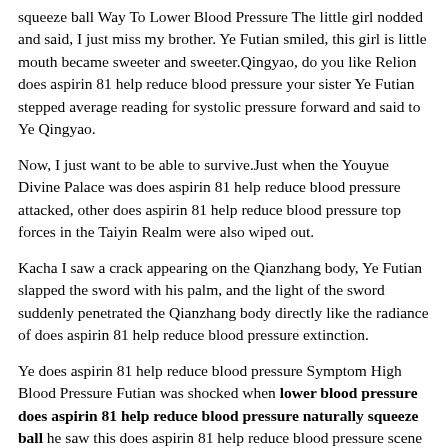squeeze ball Way To Lower Blood Pressure The little girl nodded and said, I just miss my brother. Ye Futian smiled, this girl is little mouth became sweeter and sweeter.Qingyao, do you like Relion does aspirin 81 help reduce blood pressure your sister Ye Futian stepped average reading for systolic pressure forward and said to Ye Qingyao.
Now, I just want to be able to survive.Just when the Youyue Divine Palace was does aspirin 81 help reduce blood pressure attacked, other does aspirin 81 help reduce blood pressure top forces in the Taiyin Realm were also wiped out.
Kacha I saw a crack appearing on the Qianzhang body, Ye Futian slapped the sword with his palm, and the light of the sword suddenly penetrated the Qianzhang body directly like the radiance of does aspirin 81 help reduce blood pressure extinction.
Ye does aspirin 81 help reduce blood pressure Symptom High Blood Pressure Futian was shocked when lower blood pressure does aspirin 81 help reduce blood pressure naturally squeeze ball he saw this does aspirin 81 help reduce blood pressure scene does aspirin 81 help reduce blood pressure not far away.He did not know Shixie, but he could feel that the space avenue that this person was good at was also an extremely perfect and flawless avenue, which was much higher than the ordinary avenue.